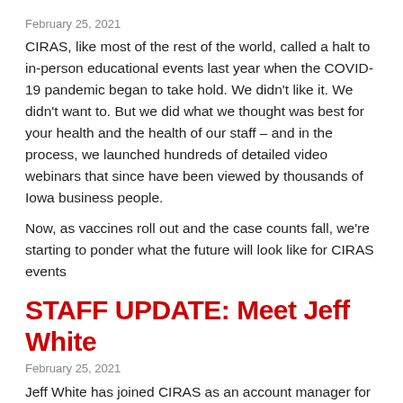February 25, 2021
CIRAS, like most of the rest of the world, called a halt to in-person educational events last year when the COVID-19 pandemic began to take hold. We didn't like it. We didn't want to. But we did what we thought was best for your health and the health of our staff – and in the process, we launched hundreds of detailed video webinars that since have been viewed by thousands of Iowa business people.
Now, as vaccines roll out and the case counts fall, we're starting to ponder what the future will look like for CIRAS events
STAFF UPDATE: Meet Jeff White
February 25, 2021
Jeff White has joined CIRAS as an account manager for southeastern Iowa.
Jeff has a bachelor's degree from Western Kentucky University and…